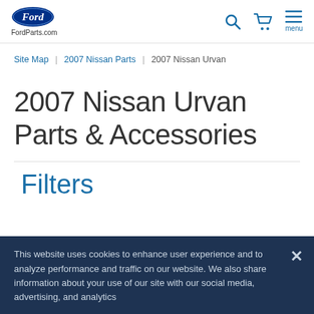[Figure (logo): Ford oval logo with FordParts.com text below]
FordParts.com — Site header with Ford logo, search, cart, and menu icons
Site Map | 2007 Nissan Parts | 2007 Nissan Urvan
2007 Nissan Urvan Parts & Accessories
Filters
This website uses cookies to enhance user experience and to analyze performance and traffic on our website. We also share information about your use of our site with our social media, advertising, and analytics